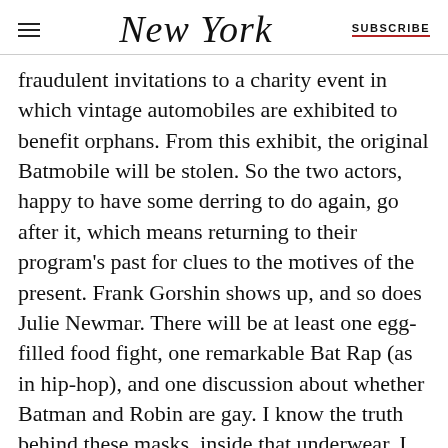NEW YORK | SUBSCRIBE
fraudulent invitations to a charity event in which vintage automobiles are exhibited to benefit orphans. From this exhibit, the original Batmobile will be stolen. So the two actors, happy to have some derring to do again, go after it, which means returning to their program’s past for clues to the motives of the present. Frank Gorshin shows up, and so does Julie Newmar. There will be at least one egg-filled food fight, one remarkable Bat Rap (as in hip-hop), and one discussion about whether Batman and Robin are gay. I know the truth behind these masks, inside that underwear. I have read Michael Chabon’s The Amazing Adventures of Kavalier & Clay. But we all deserve a break, and affable Adam provides it.